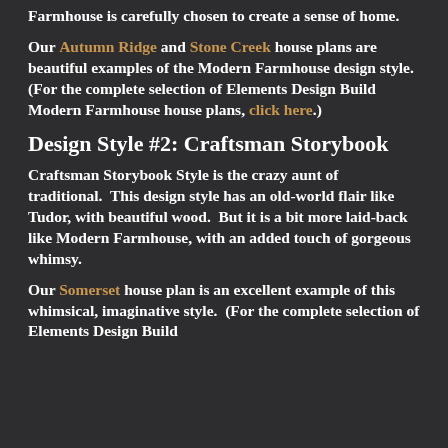Farmhouse is carefully chosen to create a sense of home.
Our Autumn Ridge and Stone Creek house plans are beautiful examples of the Modern Farmhouse design style.  (For the complete selection of Elements Design Build Modern Farmhouse house plans, click here.)
Design Style #2: Craftsman Storybook
Craftsman Storybook Style is the crazy aunt of traditional.  This design style has an old-world flair like Tudor, with beautiful wood.  But it is a bit more laid-back like Modern Farmhouse, with an added touch of gorgeous whimsy.
Our Somerset house plan is an excellent example of this whimsical, imaginative style.  (For the complete selection of Elements Design Build